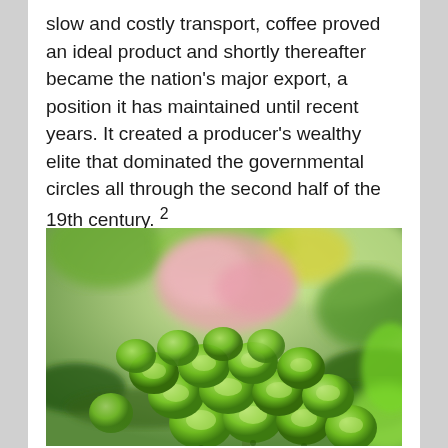slow and costly transport, coffee proved an ideal product and shortly thereafter became the nation's major export, a position it has maintained until recent years. It created a producer's wealthy elite that dominated the governmental circles all through the second half of the 19th century. ²
[Figure (photo): Close-up photograph of green unripe coffee berries/cherries on a branch, with blurred pink flowers and green leaves in the background.]